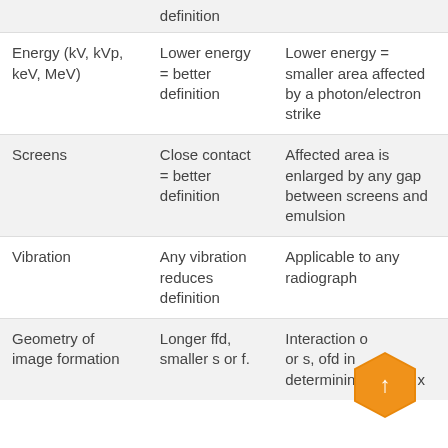|  | definition |  |
| --- | --- | --- |
| Energy (kV, kVp, keV, MeV) | Lower energy = better definition | Lower energy = smaller area affected by a photon/electron strike |
| Screens | Close contact = better definition | Affected area is enlarged by any gap between screens and emulsion |
| Vibration | Any vibration reduces definition | Applicable to any radiograph |
| Geometry of image formation | Longer ffd, smaller s or f. | Interaction of or s, ofd in determining Ug = (f x |